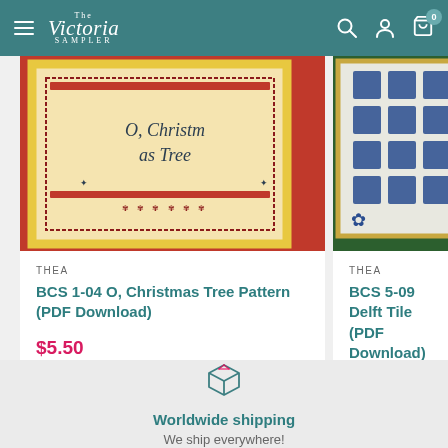The Victoria Sampler
[Figure (photo): Cross-stitch 'O, Christmas Tree' pattern in gold frame on red background]
THEA
BCS 1-04 O, Christmas Tree Pattern (PDF Download)
$5.50
[Figure (photo): Cross-stitch Delft Tile pattern with blue and white tiles on green background]
THEA
BCS 5-09 Delft Tile (PDF Download)
$6.25
[Figure (illustration): Shipping box icon in teal outline style]
Worldwide shipping
We ship everywhere!